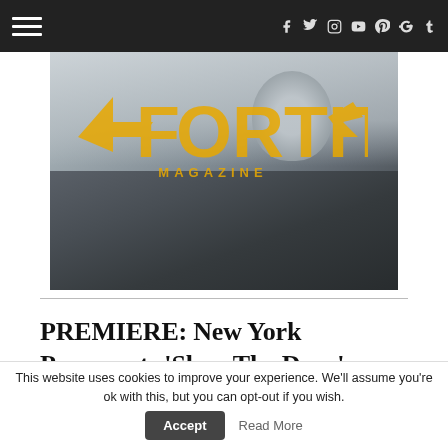Navigation bar with hamburger menu and social icons (Facebook, Twitter, Instagram, YouTube, Pinterest, Google+, Tumblr)
[Figure (photo): Hero image showing the back of a man's head and shoulders, overlaid with the Fortitude Magazine logo in orange/yellow]
PREMIERE: New York Pavements 'Slam The Door'
This website uses cookies to improve your experience. We'll assume you're ok with this, but you can opt-out if you wish.